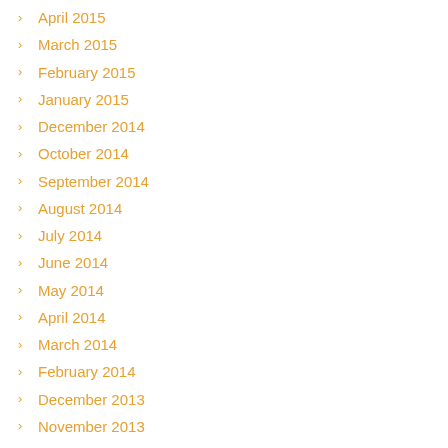April 2015
March 2015
February 2015
January 2015
December 2014
October 2014
September 2014
August 2014
July 2014
June 2014
May 2014
April 2014
March 2014
February 2014
December 2013
November 2013
October 2013